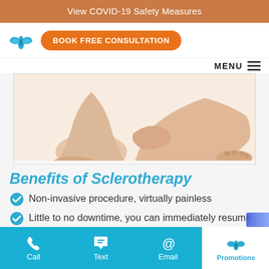View COVID-19 Safety Measures
[Figure (logo): Blue angel/butterfly wings logo icon]
BOOK FREE CONSULTATION
MENU ≡
[Figure (photo): Close-up photo of smooth female legs on white background, person sitting with legs crossed]
Benefits of Sclerotherapy
Non-invasive procedure, virtually painless
Little to no downtime, you can immediately resume your regular activities.
Call  Text  Email  Promotions